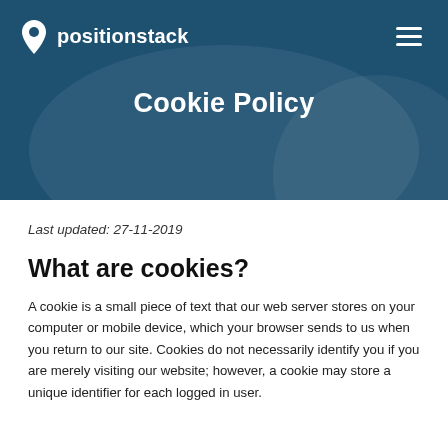positionstack
Cookie Policy
Last updated: 27-11-2019
What are cookies?
A cookie is a small piece of text that our web server stores on your computer or mobile device, which your browser sends to us when you return to our site. Cookies do not necessarily identify you if you are merely visiting our website; however, a cookie may store a unique identifier for each logged in user.